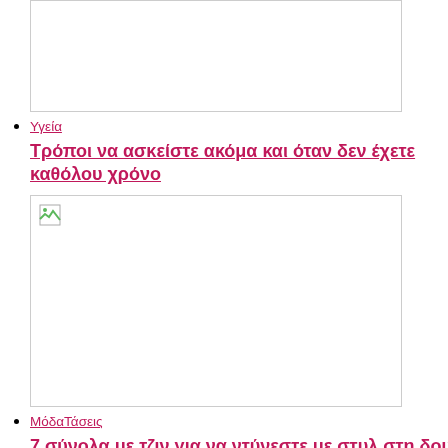[image placeholder]
Υγεία
Τρόποι να ασκείστε ακόμα και όταν δεν έχετε καθόλου χρόνο
[image placeholder]
ΜόδαΤάσεις
7 σύνολα με τζιν για να ντύνεστε με στυλ στη δουλειά